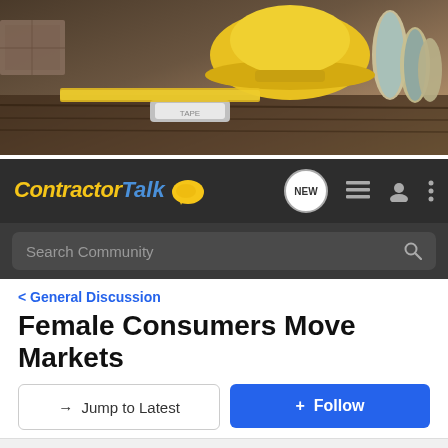[Figure (photo): Hero banner image showing construction tools: yellow hard hat, blueprint rolls, tape measure on a wooden surface]
[Figure (logo): ContractorTalk logo in yellow italic font with blue speech bubble icon and navigation icons (NEW button, list icon, user icon, menu dots)]
[Figure (screenshot): Search Community input bar with magnifying glass icon on dark background]
General Discussion
Female Consumers Move Markets
→ Jump to Latest
+ Follow
1 - 14 of 14 Posts
HusqyPro · Registered
Joined Aug 2, 2009 · 440 Posts